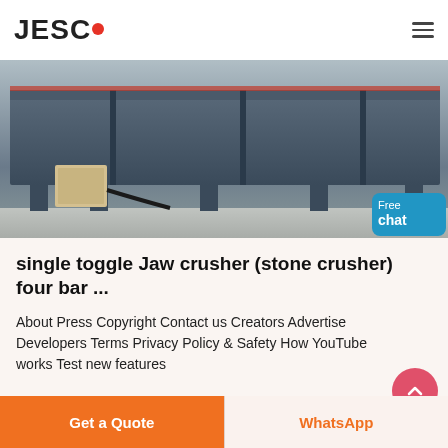JESCO
[Figure (photo): Industrial jaw crusher / stone crushing machine in a factory setting, viewed from the front, showing heavy steel frame structure. A free chat button overlay appears in the bottom right corner.]
single toggle Jaw crusher (stone crusher) four bar ...
About Press Copyright Contact us Creators Advertise Developers Terms Privacy Policy & Safety How YouTube works Test new features
Get a Quote | WhatsApp